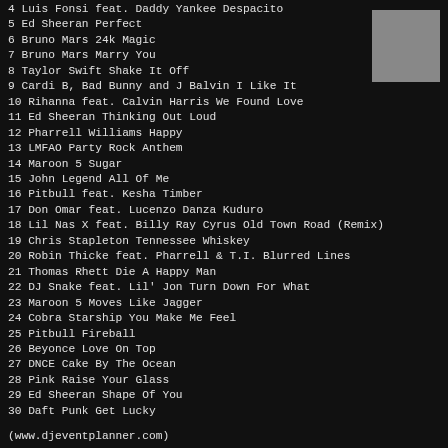4 Luis Fonsi feat. Daddy Yankee Despacito
5 Ed Sheeran Perfect
6 Bruno Mars 24k Magic
7 Bruno Mars Marry You
8 Taylor Swift Shake It Off
9 Cardi B, Bad Bunny and J Balvin I Like It
10 Rihanna feat. Calvin Harris We Found Love
11 Ed Sheeran Thinking Out Loud
12 Pharrell Williams Happy
13 LMFAO Party Rock Anthem
14 Maroon 5 Sugar
15 John Legend All Of Me
16 Pitbull feat. Kesha Timber
17 Don Omar feat. Lucenzo Danza Kuduro
18 Lil Nas X feat. Billy Ray Cyrus Old Town Road (Remix)
19 Chris Stapleton Tennessee Whiskey
20 Robin Thicke feat. Pharrell & T.I. Blurred Lines
21 Thomas Rhett Die A Happy Man
22 DJ Snake feat. Lil' Jon Turn Down For What
23 Maroon 5 Moves Like Jagger
24 Cobra Starship You Make Me Feel
25 Pitbull Fireball
26 Beyonce Love On Top
27 DNCE Cake By The Ocean
28 Pink Raise Your Glass
29 Ed Sheeran Shape Of You
30 Daft Punk Get Lucky
(www.djeventplanner.com)
[Figure (photo): Small square album art thumbnail in gray]